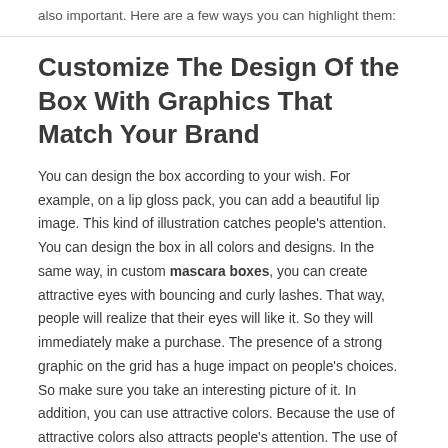also important. Here are a few ways you can highlight them:
Customize The Design Of the Box With Graphics That Match Your Brand
You can design the box according to your wish. For example, on a lip gloss pack, you can add a beautiful lip image. This kind of illustration catches people's attention. You can design the box in all colors and designs. In the same way, in custom mascara boxes, you can create attractive eyes with bouncing and curly lashes. That way, people will realize that their eyes will like it. So they will immediately make a purchase. The presence of a strong graphic on the grid has a huge impact on people's choices. So make sure you take an interesting picture of it. In addition, you can use attractive colors. Because the use of attractive colors also attracts people's attention. The use of captivating colors always wins hearts and often leads to instant purchases.
Add Special Features Like Tabs So